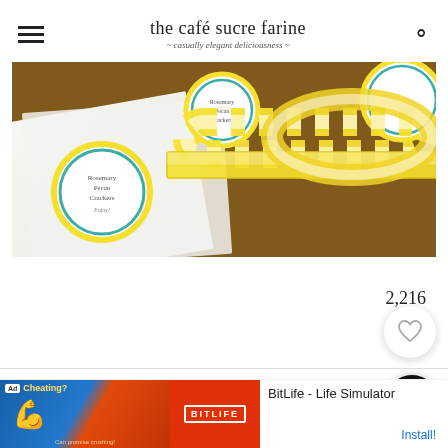the café sucre farine — casually elegant deliciousness
[Figure (photo): Round labels reading 'Rosemary Pecan Crackers' with teal decorative borders and yellow gingham ribbon on a wooden surface]
2,216
MY OTHER RECIPES
Ad  BitLife - Life Simulator  Install!